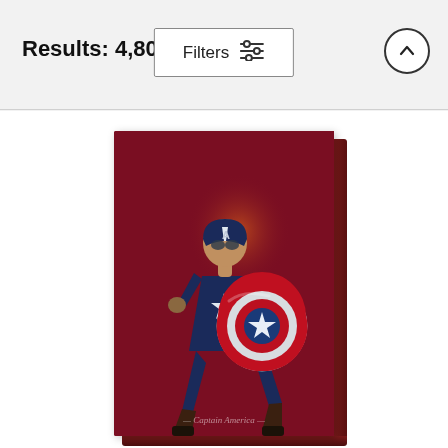Results: 4,808
[Figure (screenshot): Filters button with sliders icon and up-arrow circle button in header bar]
[Figure (illustration): Canvas print product showing Captain America in a defensive stance holding his shield, on a dark red background with an orange glow. Text at bottom reads Captain America in cursive script.]